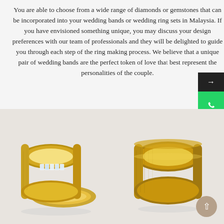You are able to choose from a wide range of diamonds or gemstones that can be incorporated into your wedding bands or wedding ring sets in Malaysia. If you have envisioned something unique, you may discuss your design preferences with our team of professionals and they will be delighted to guide you through each step of the ring making process. We believe that a unique pair of wedding bands are the perfect token of love that best represent the personalities of the couple.
[Figure (photo): Two gold wedding bands with diamond baguette accents, one standing upright showing the interior diamonds, and one lying flat, both with brushed gold finish.]
[Figure (photo): A single gold wedding band with brushed matte finish and beveled edge, shown in three-quarter view.]